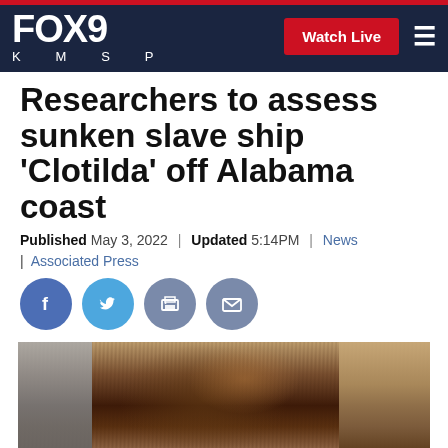FOX 9 KMSP | Watch Live
Researchers to assess sunken slave ship 'Clotilda' off Alabama coast
Published May 3, 2022 | Updated 5:14PM | News | Associated Press
[Figure (screenshot): FOX 9 KMSP news website screenshot showing article headline and social sharing buttons with a sonar/underwater image of the sunken slave ship Clotilda]
[Figure (photo): Underwater sonar or photographic image of the sunken slave ship Clotilda showing dark brown weathered wood structure against gray background]